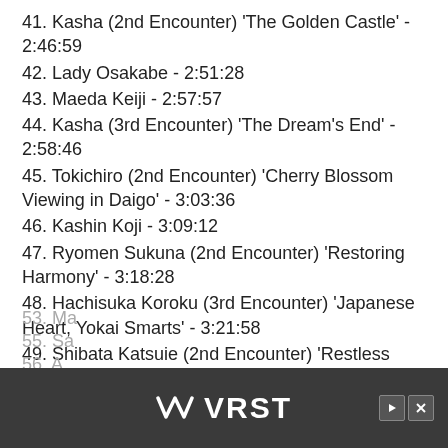41. Kasha (2nd Encounter) 'The Golden Castle' - 2:46:59
42. Lady Osakabe - 2:51:28
43. Maeda Keiji - 2:57:57
44. Kasha (3rd Encounter) 'The Dream's End' - 2:58:46
45. Tokichiro (2nd Encounter) 'Cherry Blossom Viewing in Daigo' - 3:03:36
46. Kashin Koji - 3:09:12
47. Ryomen Sukuna (2nd Encounter) 'Restoring Harmony' - 3:18:28
48. Hachisuka Koroku (3rd Encounter) 'Japanese Heart, Yokai Smarts' - 3:21:58
49. Shibata Katsuie (2nd Encounter) 'Restless Spirits' - 3:23:33
50. Azai Nagamasa (2nd Encounter) 'Yaksha Returns' - 3:26:39
51. William - 3:30:48
52. Kato Danzo - 3:36:53
54. Akishage Yoshiteru - 3:41:21
[Figure (other): Advertisement banner with VRST logo on dark background with play and close buttons]